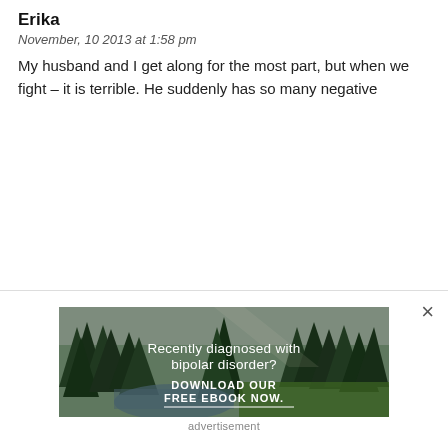Erika
November, 10 2013 at 1:58 pm
My husband and I get along for the most part, but when we fight – it is terrible. He suddenly has so many negative
[Figure (photo): Forest and river scene with overlay text: 'Recently diagnosed with bipolar disorder? DOWNLOAD OUR FREE EBOOK NOW.' Advertisement banner.]
advertisement